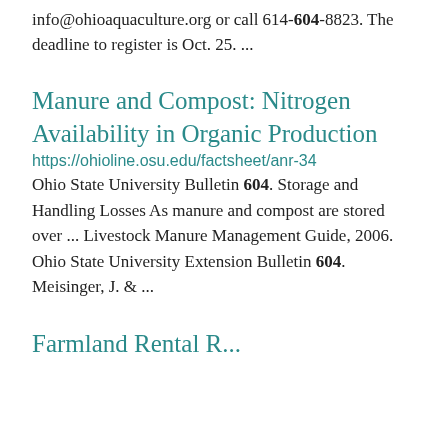info@ohioaquaculture.org or call 614-604-8823. The deadline to register is Oct. 25. ...
Manure and Compost: Nitrogen Availability in Organic Production
https://ohioline.osu.edu/factsheet/anr-34
Ohio State University Bulletin 604. Storage and Handling Losses As manure and compost are stored over ... Livestock Manure Management Guide, 2006. Ohio State University Extension Bulletin 604. Meisinger, J. & ...
Farmland Rental R...